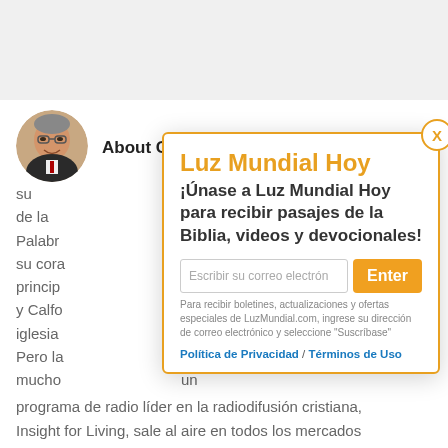About Chuck Swindoll
su de la Palabr... Con su cora... pastor princip... isetts y Calif... mada iglesia... Texas. Pero la... de mucho... un programa de radio líder en la radiodifusión cristiana, Insight for Living, sale al aire en todos los mercados principales de radio cristiana, a través de más de 2,000 puntos de partida en todo el mundo, en 11 idiomas, y
Luz Mundial Hoy
¡Únase a Luz Mundial Hoy para recibir pasajes de la Biblia, videos y devocionales!
Escribir su correo electrón
Para recibir boletines, actualizaciones y ofertas especiales de LuzMundial.com, ingrese su dirección de correo electrónico y seleccione "Suscríbase"
Política de Privacidad / Términos de Uso